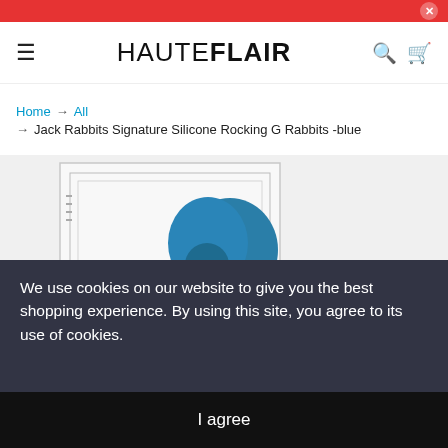HAUTEFLAIR (navigation bar with hamburger, search, and cart icons)
Home → All → Jack Rabbits Signature Silicone Rocking G Rabbits -blue
[Figure (photo): Product photo of Jack Rabbits Signature Silicone Rocking G Rabbits in blue color, shown with packaging box]
We use cookies on our website to give you the best shopping experience. By using this site, you agree to its use of cookies.
I agree